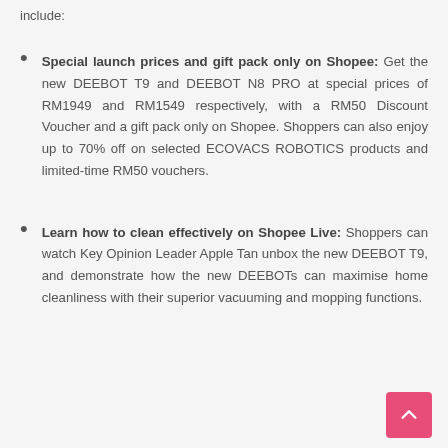include:
Special launch prices and gift pack only on Shopee: Get the new DEEBOT T9 and DEEBOT N8 PRO at special prices of RM1949 and RM1549 respectively, with a RM50 Discount Voucher and a gift pack only on Shopee. Shoppers can also enjoy up to 70% off on selected ECOVACS ROBOTICS products and limited-time RM50 vouchers.
Learn how to clean effectively on Shopee Live: Shoppers can watch Key Opinion Leader Apple Tan unbox the new DEEBOT T9, and demonstrate how the new DEEBOTs can maximise home cleanliness with their superior vacuuming and mopping functions.